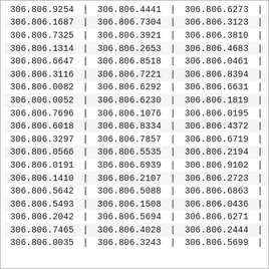| 306.806.9254 | | | 306.806.4441 | | | 306.806.6273 | | |
| 306.806.1687 | | | 306.806.7304 | | | 306.806.3123 | | |
| 306.806.7325 | | | 306.806.3921 | | | 306.806.3810 | | |
| 306.806.1314 | | | 306.806.2653 | | | 306.806.4683 | | |
| 306.806.6647 | | | 306.806.8518 | | | 306.806.0461 | | |
| 306.806.3116 | | | 306.806.7221 | | | 306.806.8394 | | |
| 306.806.0082 | | | 306.806.6292 | | | 306.806.6631 | | |
| 306.806.0052 | | | 306.806.6230 | | | 306.806.1819 | | |
| 306.806.7696 | | | 306.806.1076 | | | 306.806.0195 | | |
| 306.806.6018 | | | 306.806.8334 | | | 306.806.4372 | | |
| 306.806.3297 | | | 306.806.7857 | | | 306.806.6719 | | |
| 306.806.0566 | | | 306.806.5535 | | | 306.806.2194 | | |
| 306.806.0191 | | | 306.806.6939 | | | 306.806.9102 | | |
| 306.806.1410 | | | 306.806.2107 | | | 306.806.2723 | | |
| 306.806.5642 | | | 306.806.5088 | | | 306.806.6863 | | |
| 306.806.5493 | | | 306.806.1508 | | | 306.806.0436 | | |
| 306.806.2042 | | | 306.806.5694 | | | 306.806.6271 | | |
| 306.806.7465 | | | 306.806.4028 | | | 306.806.2444 | | |
| 306.806.0035 | | | 306.806.3243 | | | 306.806.5699 | | |